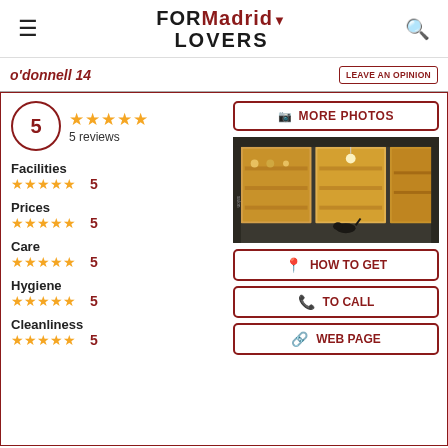FORMadridLOVERS
o'donnell 14
LEAVE AN OPINION
5 — 5 reviews
Facilities 5
Prices 5
Care 5
Hygiene 5
Cleanliness 5
[Figure (photo): Storefront of a shop with warm interior lighting, large glass windows showing display shelves inside]
MORE PHOTOS
HOW TO GET
TO CALL
WEB PAGE